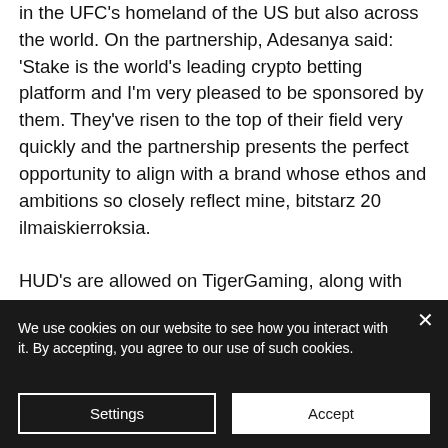in the UFC's homeland of the US but also across the world. On the partnership, Adesanya said: 'Stake is the world's leading crypto betting platform and I'm very pleased to be sponsored by them. They've risen to the top of their field very quickly and the partnership presents the perfect opportunity to align with a brand whose ethos and ambitions so closely reflect mine, bitstarz 20 ilmaiskierroksia.
HUD's are allowed on TigerGaming, along with various other software packages, bitstarz 20 ilmaiskierroksia.
Some of the most popular ones are Ethereum, Litecoin, EOS and Dash. Online
We use cookies on our website to see how you interact with it. By accepting, you agree to our use of such cookies.